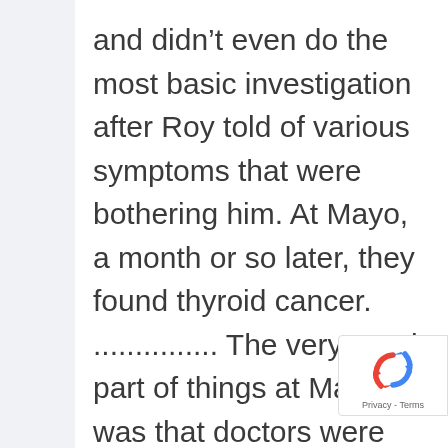and didn't even do the most basic investigation after Roy told of various symptoms that were bothering him. At Mayo, a month or so later, they found thyroid cancer. ............... The very good part of things at Mayo was that doctors were paid a salary — didn't get money
[Figure (logo): reCAPTCHA badge with spinning arrows icon and Privacy - Terms text]